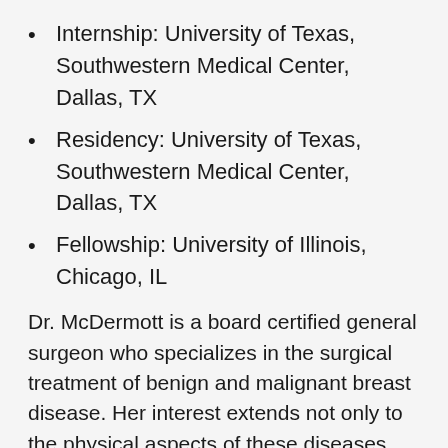Internship: University of Texas, Southwestern Medical Center, Dallas, TX
Residency: University of Texas, Southwestern Medical Center, Dallas, TX
Fellowship: University of Illinois, Chicago, IL
Dr. McDermott is a board certified general surgeon who specializes in the surgical treatment of benign and malignant breast disease. Her interest extends not only to the physical aspects of these diseases but also to the psychological impact.
Dr. McDermott has been involved as a principal at a national level with National